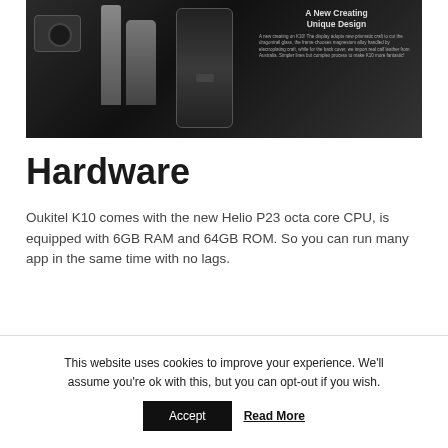[Figure (photo): Dark product photo of Oukitel K10 smartphone with camera and bottles in background, overlaid with title 'A New Creating Unique Design' and descriptive text about the phone's design]
Hardware
Oukitel K10 comes with the new Helio P23 octa core CPU, is equipped with 6GB RAM and 64GB ROM. So you can run many app in the same time with no lags.
This website uses cookies to improve your experience. We'll assume you're ok with this, but you can opt-out if you wish.